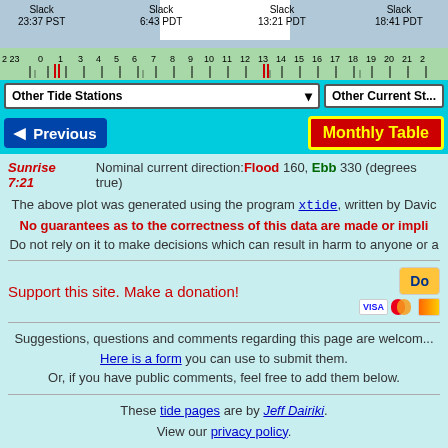[Figure (other): Tide chart ruler/timeline showing slack times: Slack 23:37 PST, Slack 6:43 PDT, Slack 13:21 PDT, Slack 18:41 PDT. Horizontal ruler with hour numbers 22-21 and tick marks.]
Other Tide Stations ▾
Other Current St...
◀ Previous
Monthly Table
Sunrise 7:21
Nominal current direction: Flood 160, Ebb 330 (degrees true)
The above plot was generated using the program xtide, written by David...
No guarantees as to the correctness of this data are made or impli...
Do not rely on it to make decisions which can result in harm to anyone or a...
Support this site. Make a donation!
Suggestions, questions and comments regarding this page are welcom... Here is a form you can use to submit them. Or, if you have public comments, feel free to add them below.
These tide pages are by Jeff Dairiki. View our privacy policy.
Generated by xtide-html version git/4.57/20220228T2015Z